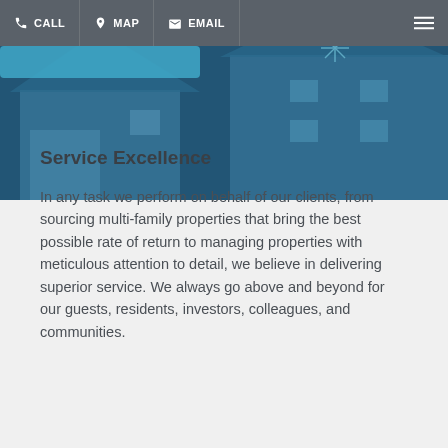CALL  MAP  EMAIL
[Figure (photo): Blue-toned exterior photo of a multi-family residential building with rooftop detail, overlaid with a dark blue tint]
Service Excellence
In any task we perform on behalf of our clients, from sourcing multi-family properties that bring the best possible rate of return to managing properties with meticulous attention to detail, we believe in delivering superior service. We always go above and beyond for our guests, residents, investors, colleagues, and communities.